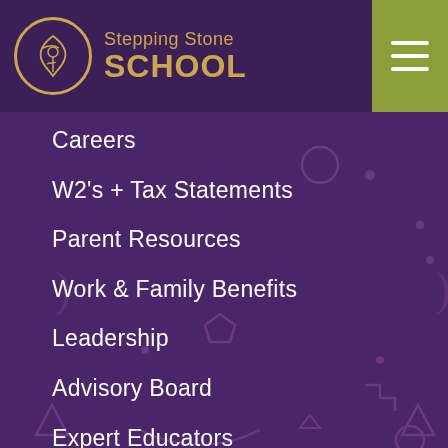Stepping Stone SCHOOL
Careers
W2's + Tax Statements
Parent Resources
Work & Family Benefits
Leadership
Advisory Board
Expert Educators
Philanthropy